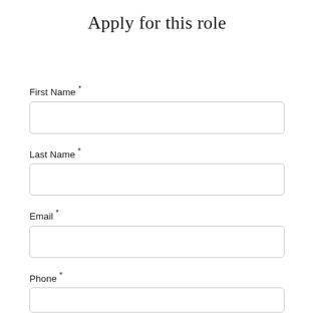Apply for this role
First Name *
Last Name *
Email *
Phone *